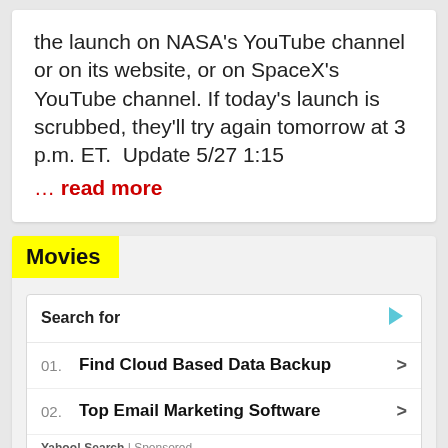the launch on NASA's YouTube channel or on its website, or on SpaceX's YouTube channel. If today's launch is scrubbed, they'll try again tomorrow at 3 p.m. ET.  Update 5/27 1:15
… read more
Movies
Search for
01.  Find Cloud Based Data Backup
02.  Top Email Marketing Software
Yahoo! Search | Sponsored